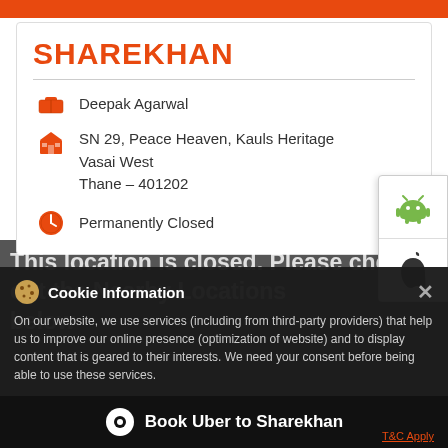SHAREKHAN
Deepak Agarwal
SN 29, Peace Heaven, Kauls Heritage Vasai West
Thane – 401202
Permanently Closed
This location is closed. Please check out the Nearby Locations below
Cookie Information
On our website, we use services (including from third-party providers) that help us to improve our online presence (optimization of website) and to display content that is geared to their interests. We need your consent before being able to use these services.
Book Uber to Sharekhan
T&C Apply